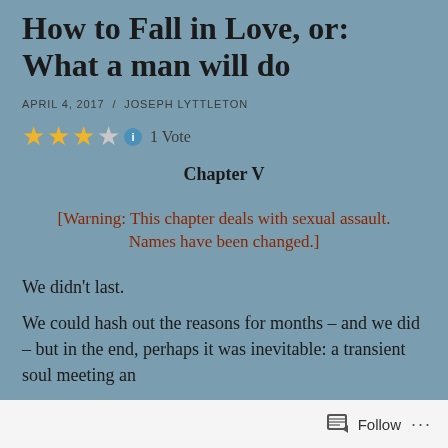How to Fall in Love, or: What a man will do
APRIL 4, 2017  /  JOSEPH LYTTLETON
[Figure (other): Star rating: 3.5 out of 5 stars with info icon and 1 Vote label]
Chapter V
[Warning: This chapter deals with sexual assault. Names have been changed.]
We didn't last.
We could hash out the reasons for months – and we did – but in the end, perhaps it was inevitable: a transient soul meeting an
Follow